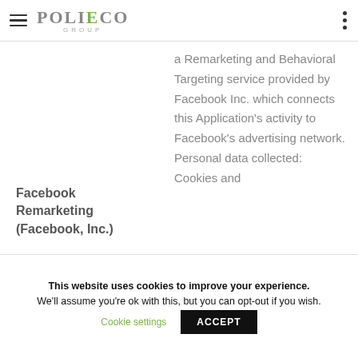POLIECO GROUP
a Remarketing and Behavioral Targeting service provided by Facebook Inc. which connects this Application's activity to Facebook's advertising network. Personal data collected: Cookies and
Facebook Remarketing (Facebook, Inc.)
This website uses cookies to improve your experience. We'll assume you're ok with this, but you can opt-out if you wish. Cookie settings ACCEPT